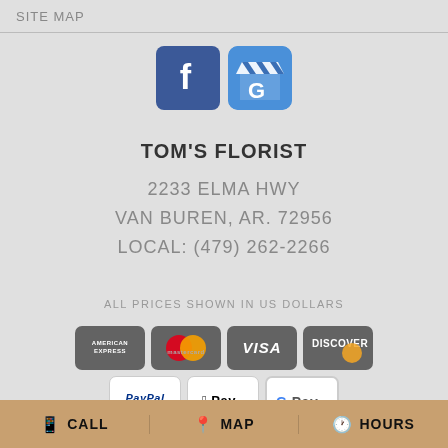SITE MAP
[Figure (logo): Facebook logo icon (blue square with white f) and Google My Business logo icon (blue awning with G)]
TOM'S FLORIST
2233 ELMA HWY
VAN BUREN, AR. 72956
LOCAL: (479) 262-2266
ALL PRICES SHOWN IN US DOLLARS
[Figure (logo): Payment method icons: American Express, Mastercard, Visa, Discover, PayPal, Apple Pay, Google Pay]
CALL   MAP   HOURS